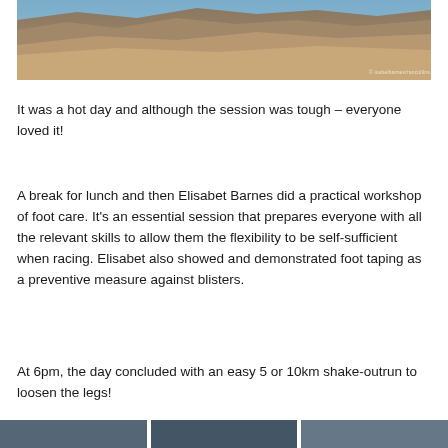[Figure (photo): Outdoor hillside landscape photograph showing a dry, rocky slope with sparse vegetation under a blue sky. Small figures visible at the top. Watermark text in bottom right corner.]
It was a hot day and although the session was tough – everyone loved it!
A break for lunch and then Elisabet Barnes did a practical workshop of foot care. It's an essential session that prepares everyone with all the relevant skills to allow them the flexibility to be self-sufficient when racing. Elisabet also showed and demonstrated foot taping as a preventive measure against blisters.
At 6pm, the day concluded with an easy 5 or 10km shake-outrun to loosen the legs!
[Figure (photo): Three cropped thumbnail photos shown at the bottom of the page, partially visible.]